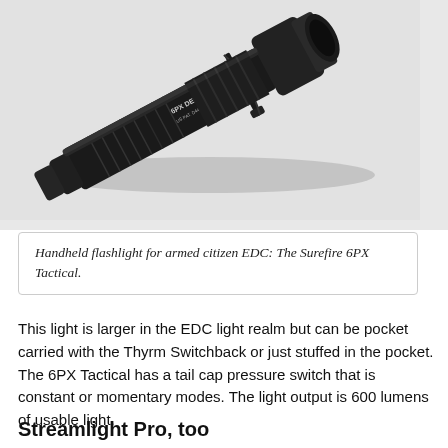[Figure (photo): A black SureFire 6PX Defender tactical flashlight photographed diagonally on a light gray/white background. The flashlight body shows knurled grip and a clip. Text on the body reads '6PX DEFENDER'.]
Handheld flashlight for armed citizen EDC: The Surefire 6PX Tactical.
This light is larger in the EDC light realm but can be pocket carried with the Thyrm Switchback or just stuffed in the pocket. The 6PX Tactical has a tail cap pressure switch that is constant or momentary modes. The light output is 600 lumens of usable light.
Streamlight Pro, too